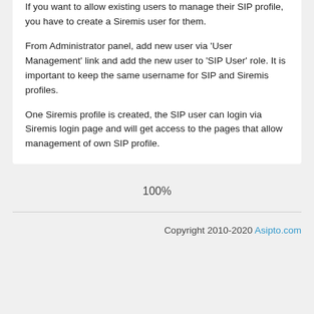If you want to allow existing users to manage their SIP profile, you have to create a Siremis user for them.

From Administrator panel, add new user via 'User Management' link and add the new user to 'SIP User' role. It is important to keep the same username for SIP and Siremis profiles.

One Siremis profile is created, the SIP user can login via Siremis login page and will get access to the pages that allow management of own SIP profile.
100%
Copyright 2010-2020 Asipto.com